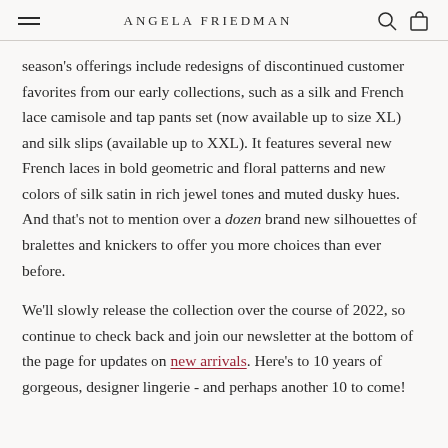Angela Friedman
season's offerings include redesigns of discontinued customer favorites from our early collections, such as a silk and French lace camisole and tap pants set (now available up to size XL) and silk slips (available up to XXL). It features several new French laces in bold geometric and floral patterns and new colors of silk satin in rich jewel tones and muted dusky hues. And that's not to mention over a dozen brand new silhouettes of bralettes and knickers to offer you more choices than ever before.
We'll slowly release the collection over the course of 2022, so continue to check back and join our newsletter at the bottom of the page for updates on new arrivals. Here's to 10 years of gorgeous, designer lingerie - and perhaps another 10 to come!